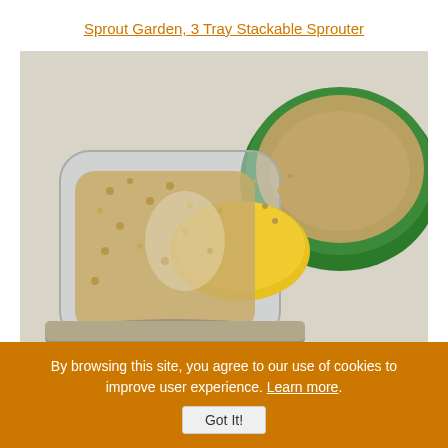Sprout Garden, 3 Tray Stackable Sprouter
[Figure (photo): Photo of seeds being poured from a glass jar with a yellow mesh lid into a green sprouting tray filled with seeds]
Steps for Growing Alfalfa Sprouts
By browsing this site, you agree to our use of cookies to improve user experience. Learn more.
Got It!